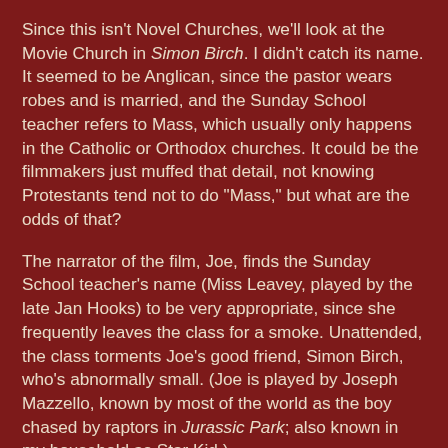Since this isn't Novel Churches, we'll look at the Movie Church in Simon Birch. I didn't catch its name. It seemed to be Anglican, since the pastor wears robes and is married, and the Sunday School teacher refers to Mass, which usually only happens in the Catholic or Orthodox churches. It could be the filmmakers just muffed that detail, not knowing Protestants tend not to do "Mass," but what are the odds of that?
The narrator of the film, Joe, finds the Sunday School teacher's name (Miss Leavey, played by the late Jan Hooks) to be very appropriate, since she frequently leaves the class for a smoke. Unattended, the class torments Joe's good friend, Simon Birch, who's abnormally small. (Joe is played by Joseph Mazzello, known by most of the world as the boy chased by raptors in Jurassic Park; also known in my household as Star Kid.)
Miss Leavey is in charge of the Christmas program, and the children are not pleased. One child volunteers to be